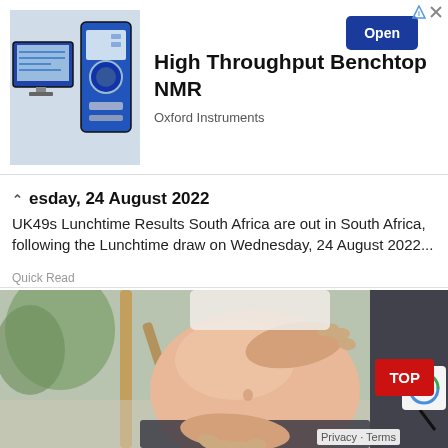[Figure (screenshot): Advertisement banner for Oxford Instruments showing benchtop NMR equipment (a computer monitor with NMR interface and a blue/white instrument), with text 'High Throughput Benchtop NMR', 'Oxford Instruments', and an 'Open' button.]
esday, 24 August 2022
UK49s Lunchtime Results South Africa are out in South Africa, following the Lunchtime draw on Wednesday, 24 August 2022...
Quick Read
[Figure (photo): Close-up photo of a pregnant woman's belly, with her hands cradling it. She is wearing a white top and dark pants. Background shows a plant and wooden furniture.]